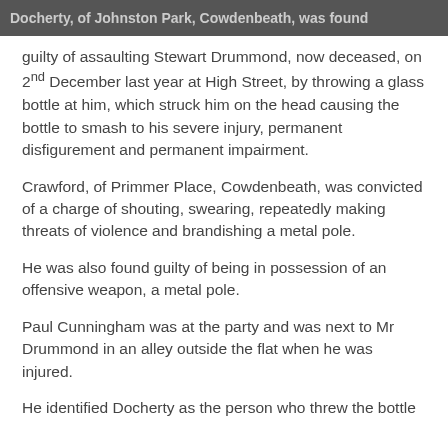Docherty, of Johnston Park, Cowdenbeath, was found
guilty of assaulting Stewart Drummond, now deceased, on 2nd December last year at High Street, by throwing a glass bottle at him, which struck him on the head causing the bottle to smash to his severe injury, permanent disfigurement and permanent impairment.
Crawford, of Primmer Place, Cowdenbeath, was convicted of a charge of shouting, swearing, repeatedly making threats of violence and brandishing a metal pole.
He was also found guilty of being in possession of an offensive weapon, a metal pole.
Paul Cunningham was at the party and was next to Mr Drummond in an alley outside the flat when he was injured.
He identified Docherty as the person who threw the bottle